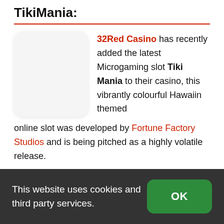TikiMania:
[Figure (illustration): White rounded rectangle placeholder image for Tiki Mania slot]
32Red Casino has recently added the latest Microgaming slot Tiki Mania to their casino, this vibrantly colourful Hawaiin themed online slot was developed by Fortune Factory Studios and is being pitched as a highly volatile release.
Tiki Mania uses a regular 5×3 reel layout and
This website uses cookies and third party services.
OK